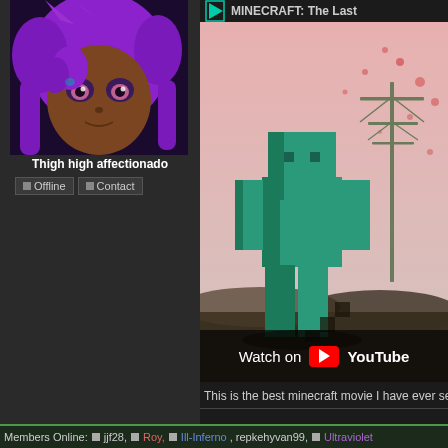[Figure (screenshot): Anime avatar with purple hair on dark background]
Thigh high affectionado
Offline  Contact
[Figure (screenshot): YouTube video thumbnail showing MINECRAFT: The Last... with Minecraft character and antenna in background, Watch on YouTube overlay]
This is the best minecraft movie I have ever se
Members Online:  jjf28,  Roy,  Ill-Inferno, repkehyvan99,  Ultraviolet